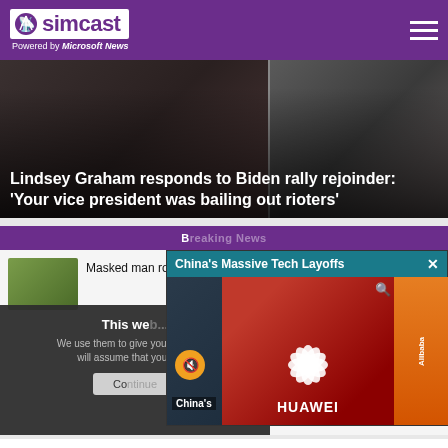simcast — Powered by Microsoft News
[Figure (photo): Hero news image with text overlay: Lindsey Graham responds to Biden rally rejoinder: 'Your vice president was bailing out rioters']
Lindsey Graham responds to Biden rally rejoinder: 'Your vice president was bailing out rioters'
Breaking News
Masked man rob...
This we... We use them to give you the be... will assume that you are...
Co...
[Figure (screenshot): Video popup titled 'China's Massive Tech Layoffs' showing Huawei and Alibaba logos with a mute button overlay]
'He did it to himself': Conway rebuts GOP talking point about Trump and Clinton
CNN